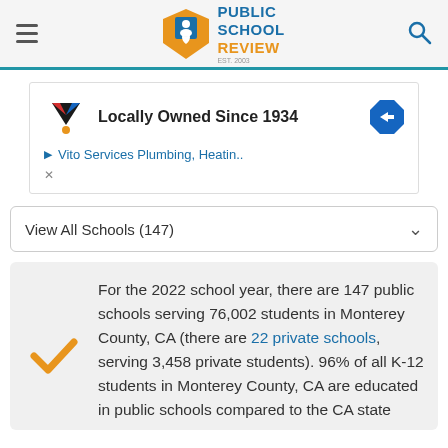PUBLIC SCHOOL REVIEW EST. 2003
[Figure (infographic): Advertisement banner: Vito Services Plumbing, Heating.. - Locally Owned Since 1934]
View All Schools (147)
For the 2022 school year, there are 147 public schools serving 76,002 students in Monterey County, CA (there are 22 private schools, serving 3,458 private students). 96% of all K-12 students in Monterey County, CA are educated in public schools compared to the CA state